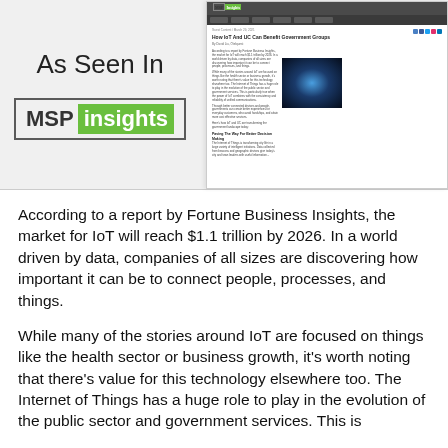[Figure (screenshot): Screenshot of MSP Insights website showing article 'How IoT And UC Can Benefit Government Groups', alongside 'As Seen In' text and MSP Insights logo on grey background.]
According to a report by Fortune Business Insights, the market for IoT will reach $1.1 trillion by 2026. In a world driven by data, companies of all sizes are discovering how important it can be to connect people, processes, and things.
While many of the stories around IoT are focused on things like the health sector or business growth, it's worth noting that there's value for this technology elsewhere too. The Internet of Things has a huge role to play in the evolution of the public sector and government services. This is